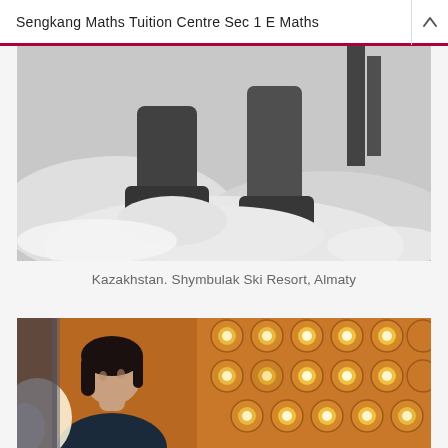Sengkang Maths Tuition Centre Sec 1 E Maths
[Figure (photo): Black and white photo of legs/boots standing in snow, close-up shot from below the knees]
Kazakhstan. Shymbulak Ski Resort, Almaty
[Figure (photo): Color photo of a young Asian woman looking upward in a ornate building interior with decorative gold/orange ceiling with circular light fixtures]